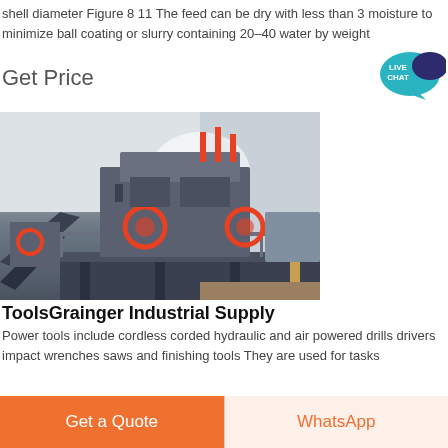shell diameter Figure 8 11 The feed can be dry with less than 3 moisture to minimize ball coating or slurry containing 20–40 water by weight
Get Price
[Figure (photo): Industrial crushing/milling equipment at a quarry or mining site, showing large heavy machinery with orange accent parts on a steel platform structure]
ToolsGrainger Industrial Supply
Power tools include cordless corded hydraulic and air powered drills drivers impact wrenches saws and finishing tools They are used for tasks